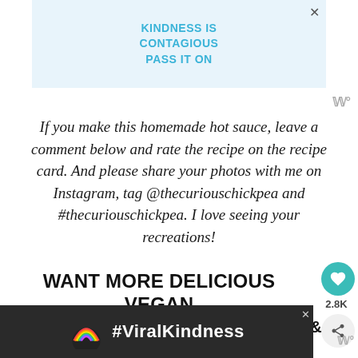[Figure (other): Ad banner: light blue background with text 'KINDNESS IS CONTAGIOUS PASS IT ON' in teal bold letters, close X button top right]
If you make this homemade hot sauce, leave a comment below and rate the recipe on the recipe card. And please share your photos with me on Instagram, tag @thecuriouschickpea and #thecuriouschickpea. I love seeing your recreations!
WANT MORE DELICIOUS VEGAN RECIPES?
SIGN UP FOR MY EMAIL NEWSLETTER &
[Figure (other): Bottom ad banner: dark background with rainbow illustration and #ViralKindness text in white]